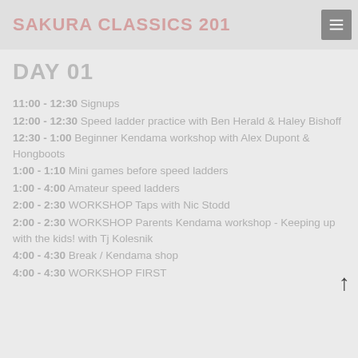SAKURA CLASSICS 201
DAY 01
11:00 - 12:30 Signups
12:00 - 12:30 Speed ladder practice with Ben Herald & Haley Bishoff
12:30 - 1:00 Beginner Kendama workshop with Alex Dupont & Hongboots
1:00 - 1:10 Mini games before speed ladders
1:00 - 4:00 Amateur speed ladders
2:00 - 2:30 WORKSHOP Taps with Nic Stodd
2:00 - 2:30 WORKSHOP Parents Kendama workshop - Keeping up with the kids! with Tj Kolesnik
4:00 - 4:30 Break / Kendama shop
4:00 - 4:30 WORKSHOP FIRST